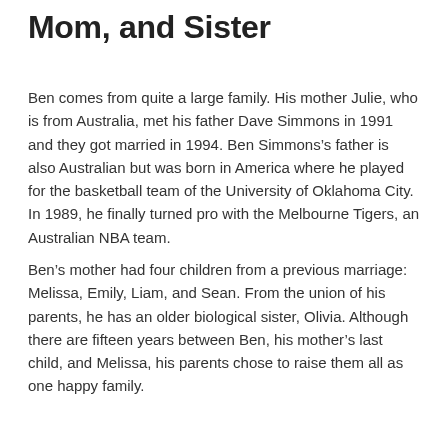Mom, and Sister
Ben comes from quite a large family. His mother Julie, who is from Australia, met his father Dave Simmons in 1991 and they got married in 1994. Ben Simmons’s father is also Australian but was born in America where he played for the basketball team of the University of Oklahoma City. In 1989, he finally turned pro with the Melbourne Tigers, an Australian NBA team.
Ben’s mother had four children from a previous marriage: Melissa, Emily, Liam, and Sean. From the union of his parents, he has an older biological sister, Olivia. Although there are fifteen years between Ben, his mother’s last child, and Melissa, his parents chose to raise them all as one happy family.